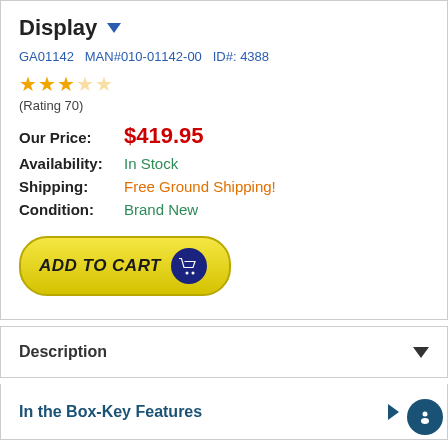Display
GA01142  MAN#010-01142-00  ID#: 4388
★★★☆☆ (Rating 70)
Our Price: $419.95
Availability: In Stock
Shipping: Free Ground Shipping!
Condition: Brand New
[Figure (other): Add to Cart button with yellow rounded background and dark blue cart icon circle]
Description
In the Box-Key Features